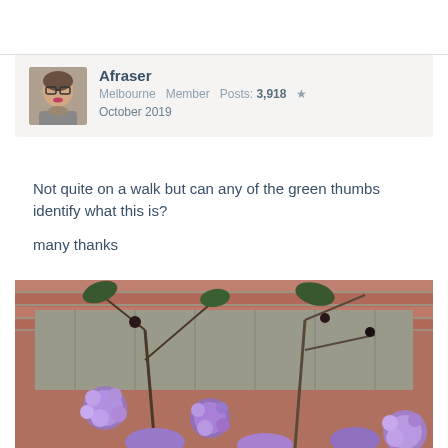Afraser Melbourne Member Posts: 3,918 ★ October 2019
Not quite on a walk but can any of the green thumbs identify what this is?

many thanks
[Figure (photo): Photo of purple fluffy ball-shaped flowers (possibly ageratum or similar) in front of a wooden fence and brick wall, with bare branching stems and green leaves visible]